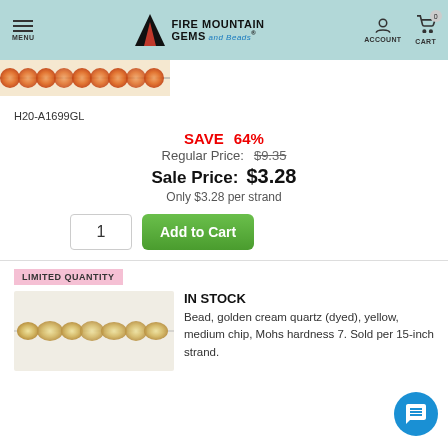MENU | FIRE MOUNTAIN GEMS and Beads | ACCOUNT | CART 0
[Figure (photo): Orange/red faceted beads on a strand, product image strip]
H20-A1699GL
SAVE 64%
Regular Price: $9.35
Sale Price: $3.28
Only $3.28 per strand
LIMITED QUANTITY
IN STOCK
Bead, golden cream quartz (dyed), yellow, medium chip, Mohs hardness 7. Sold per 15-inch strand.
[Figure (photo): Golden cream quartz chip beads on a strand, product photo]